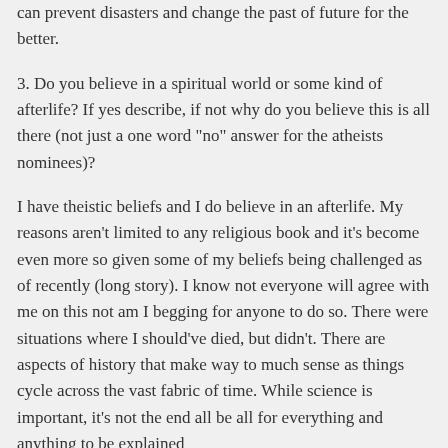can prevent disasters and change the past of future for the better.
3. Do you believe in a spiritual world or some kind of afterlife? If yes describe, if not why do you believe this is all there (not just a one word "no" answer for the atheists nominees)?
I have theistic beliefs and I do believe in an afterlife. My reasons aren't limited to any religious book and it's become even more so given some of my beliefs being challenged as of recently (long story). I know not everyone will agree with me on this not am I begging for anyone to do so. There were situations where I should've died, but didn't. There are aspects of history that make way to much sense as things cycle across the vast fabric of time. While science is important, it's not the end all be all for everything and anything to be explained